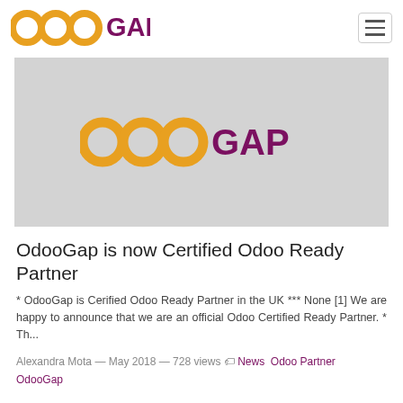OdooGap
[Figure (logo): OdooGap logo on grey background — three circles in golden/amber color followed by GAP in dark magenta/purple text]
OdooGap is now Certified Odoo Ready Partner
* OdooGap is Cerified Odoo Ready Partner in the UK *** None [1] We are happy to announce that we are an official Odoo Certified Ready Partner. * Th...
Alexandra Mota — May 2018 — 728 views  News  Odoo Partner OdooGap